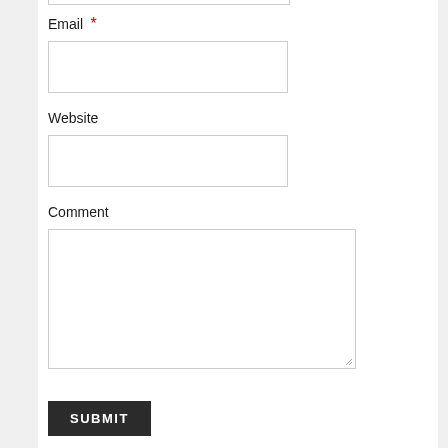Email *
[Figure (screenshot): Empty text input field for Email]
Website
[Figure (screenshot): Empty text input field for Website]
Comment
[Figure (screenshot): Large empty textarea for Comment with resize handle]
[Figure (screenshot): Dark Submit button with white bold text SUBMIT]
Email me if someone else comments on